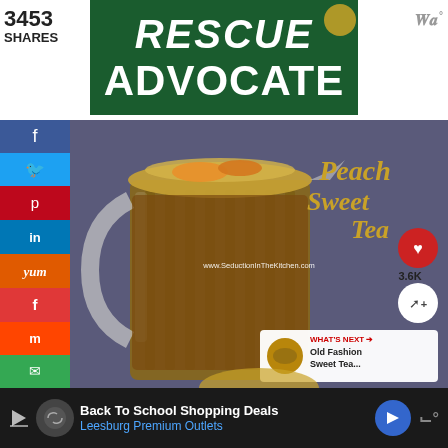3453
SHARES
[Figure (logo): Rescue Advocate logo on green background with white bold text]
[Figure (photo): Photo of a glass pitcher filled with peach sweet tea on a dark background with 'Peach Sweet Tea' text overlay in gold cursive script and website URL www.SeductionInTheKitchen.com. Includes heart button showing favorite icon, share button, 3.6K count, and 'What's Next' overlay showing 'Old Fashion Sweet Tea...']
[Figure (infographic): Social media sidebar with Facebook, Twitter, Pinterest, LinkedIn, Yummly, Flipboard, Mix, and Email share buttons]
[Figure (screenshot): Bottom advertisement banner: Back To School Shopping Deals, Leesburg Premium Outlets]